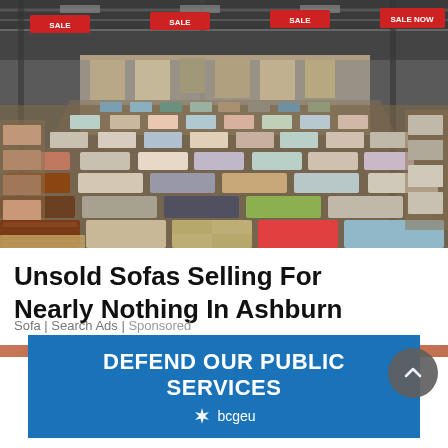[Figure (photo): Aerial/overhead view of a large furniture warehouse showroom with hundreds of sofas and couches arranged in rows on the floor. Red sale banners hang from the ceiling rafters. Sofas come in various colors including brown leather, grey, blue, pink, green, red, teal, and patterned fabrics. The warehouse has a two-level layout with additional furniture visible on the upper level.]
Unsold Sofas Selling For Nearly Nothing In Ashburn
Sofa | Search Ads | Sponsored
[Figure (infographic): Blue advertisement banner reading DEFEND OUR PUBLIC SERVICES with bcgeu logo (stylized snowflake/star icon) below the text]